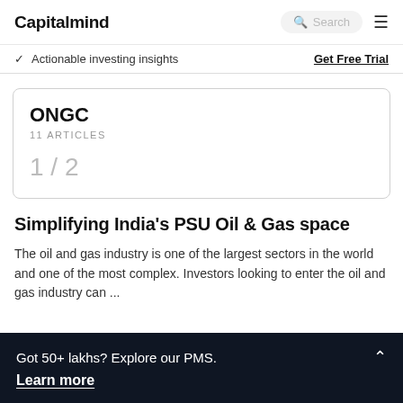Capitalmind
✓ Actionable investing insights
Get Free Trial
ONGC
11 ARTICLES
1 / 2
Simplifying India's PSU Oil & Gas space
The oil and gas industry is one of the largest sectors in the world and one of the most complex. Investors looking to enter the oil and gas industry can ...
Got 50+ lakhs? Explore our PMS.
Learn more